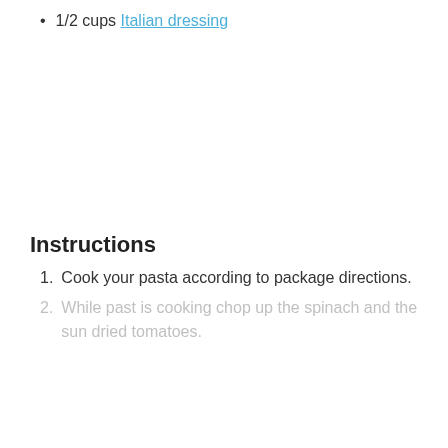1/2 cups Italian dressing
Instructions
1. Cook your pasta according to package directions.
2. While past is cooking chop up the spinach and the sun dried tomatoes.